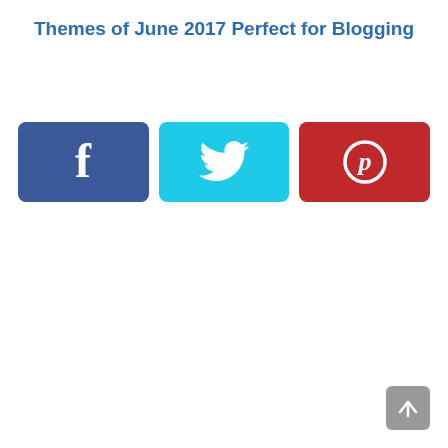Themes of June 2017 Perfect for Blogging
[Figure (other): Three social share buttons: Facebook (blue), Twitter (cyan), Pinterest (red) with respective icons]